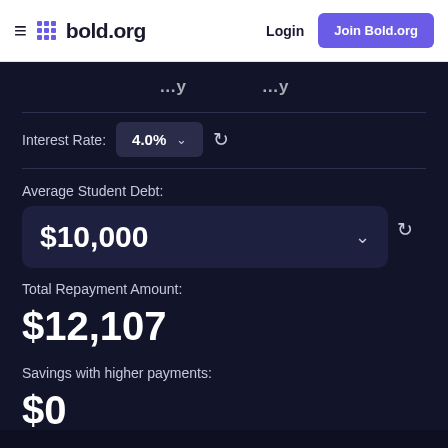≡ ⊞ bold.org   Login   Join Bold.org
Interest Rate: 4.0% ↺
Average Student Debt:
$10,000
Total Repayment Amount:
$12,107
Savings with higher payments:
$0